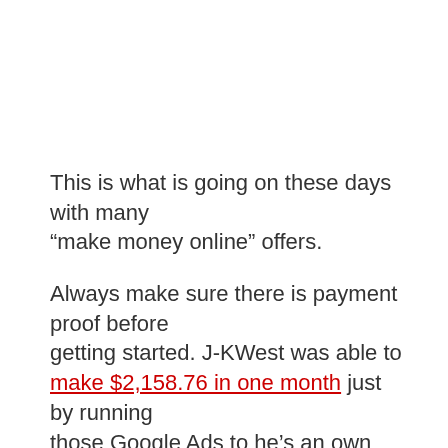This is what is going on these days with many “make money online” offers.
Always make sure there is payment proof before getting started. J-KWest was able to make $2,158.76 in one month just by running those Google Ads to he’s an own website.